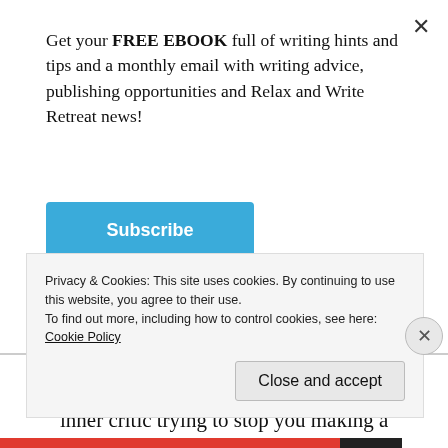Get your FREE EBOOK full of writing hints and tips and a monthly email with writing advice, publishing opportunities and Relax and Write Retreat news!
Subscribe
criticism. It’s another face of that horrid inner critic trying to stop you making a fool of yourself.
Well thanks, but no thanks. Because nothing is ever really perfect. Ask any writer, any artist. There’s always something you can fix or change, even with published
Privacy & Cookies: This site uses cookies. By continuing to use this website, you agree to their use.
To find out more, including how to control cookies, see here: Cookie Policy
Close and accept